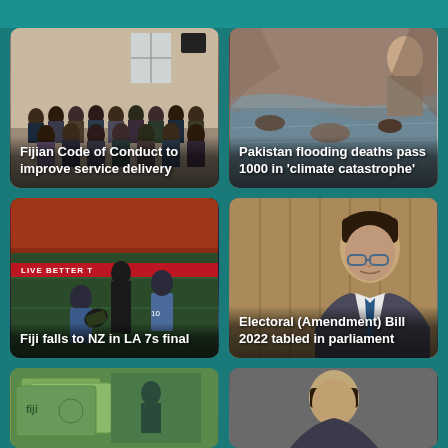[Figure (photo): Group photo of people in formal attire standing in a room]
Fijian Code of Conduct to improve service delivery
[Figure (photo): Flood scene with rushing muddy water and debris]
Pakistan flooding deaths pass 1000 in 'climate catastrophe'
[Figure (photo): Rugby players in action on field, one in black All Blacks kit]
Fiji falls to NZ in LA 7s final
[Figure (photo): Man in suit with glasses, appears to be in parliament]
Electoral (Amendment) Bill 2022 tabled in parliament
[Figure (photo): Fiji currency notes and rugby imagery]
[Figure (photo): Person in formal setting]